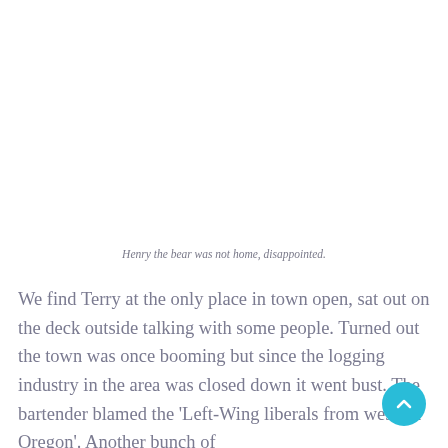Henry the bear was not home, disappointed.
We find Terry at the only place in town open, sat out on the deck outside talking with some people. Turned out the town was once booming but since the logging industry in the area was closed down it went bust. The bartender blamed the 'Left-Wing liberals from western Oregon'. Another bunch of